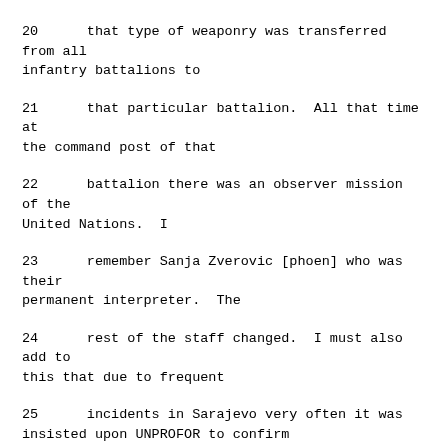20      that type of weaponry was transferred from all infantry battalions to
21      that particular battalion.  All that time at the command post of that
22      battalion there was an observer mission of the United Nations.  I
23      remember Sanja Zverovic [phoen] who was their permanent interpreter.  The
24      rest of the staff changed.  I must also add to this that due to frequent
25      incidents in Sarajevo very often it was insisted upon UNPROFOR to confirm